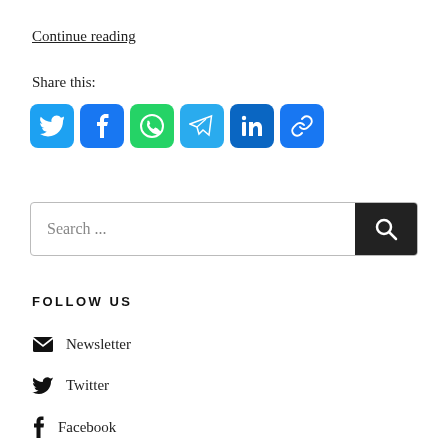Continue reading
Share this:
[Figure (other): Social share buttons: Twitter (blue bird), Facebook (blue f), WhatsApp (green), Telegram (blue paper plane), LinkedIn (blue in), Copy link (blue chain link)]
[Figure (other): Search bar with placeholder text 'Search ...' and a dark search button with magnifying glass icon]
FOLLOW US
Newsletter
Twitter
Facebook